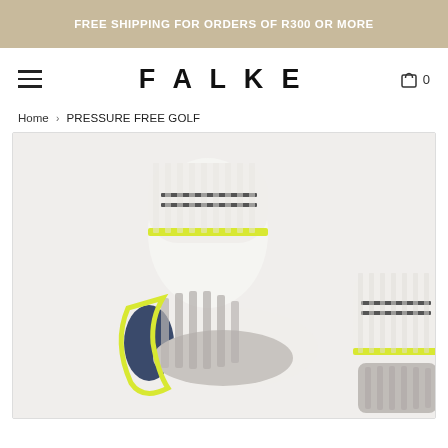FREE SHIPPING FOR ORDERS OF R300 OR MORE
[Figure (logo): FALKE brand logo in bold black uppercase letters with hamburger menu icon and cart icon with 0 items]
Home › PRESSURE FREE GOLF
[Figure (photo): White golf ankle socks with yellow-green accent trim and grey cushioned sole panels, shown from the side angle, two socks partially visible]